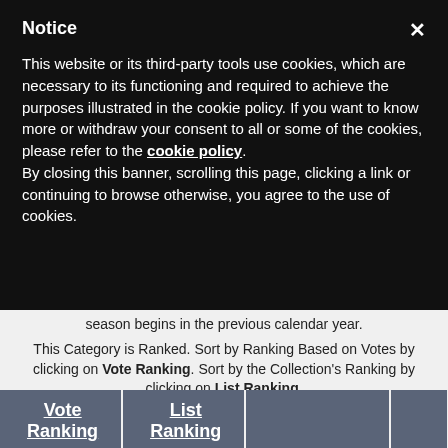Notice
This website or its third-party tools use cookies, which are necessary to its functioning and required to achieve the purposes illustrated in the cookie policy. If you want to know more or withdraw your consent to all or some of the cookies, please refer to the cookie policy.
By closing this banner, scrolling this page, clicking a link or continuing to browse otherwise, you agree to the use of cookies.
season begins in the previous calendar year.
This Category is Ranked. Sort by Ranking Based on Votes by clicking on Vote Ranking. Sort by the Collection's Ranking by clicking on List Ranking.
| Vote Ranking | List Ranking |  |  |
| --- | --- | --- | --- |
| 1 | 0 | National |  |